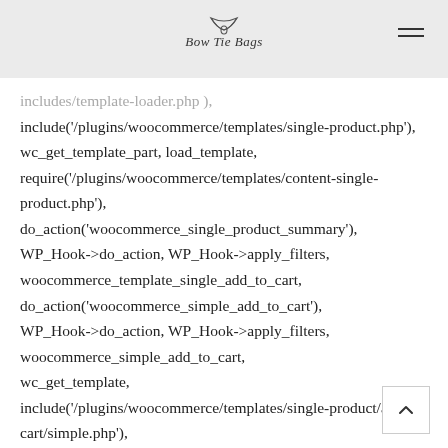Bow Tie Bags
includes/template-loader.php ), include('/plugins/woocommerce/templates/single-product.php'), wc_get_template_part, load_template, require('/plugins/woocommerce/templates/content-single-product.php'), do_action('woocommerce_single_product_summary'), WP_Hook->do_action, WP_Hook->apply_filters, woocommerce_template_single_add_to_cart, do_action('woocommerce_simple_add_to_cart'), WP_Hook->do_action, WP_Hook->apply_filters, woocommerce_simple_add_to_cart, wc_get_template, include('/plugins/woocommerce/templates/single-product/add-to-cart/simple.php'), woocommerce_quantity_input,